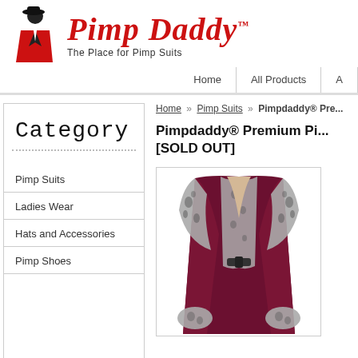[Figure (logo): Pimp Daddy logo with illustrated figure in red jacket and hat, brand name in red italic script, tagline 'The Place for Pimp Suits']
Home | All Products | A...
Home » Pimp Suits » Pimpdaddy® Pre...
Category
Pimp Suits
Ladies Wear
Hats and Accessories
Pimp Shoes
Pimpdaddy® Premium Pi... [SOLD OUT]
[Figure (photo): A burgundy velvet pimp coat with grey leopard print fur collar and cuffs, displayed on white background]